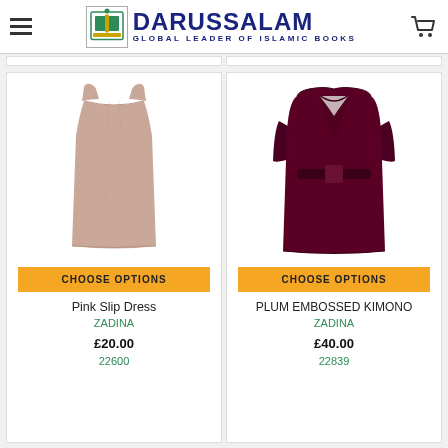DARUSSALAM - GLOBAL LEADER OF ISLAMIC BOOKS
[Figure (photo): Pink Slip Dress - a sleeveless, mauve/dusty pink long slip dress on white background]
CHOOSE OPTIONS
Pink Slip Dress
ZADINA
£20.00
22600
[Figure (photo): Plum Embossed Kimono - a dark plum/burgundy long kimono with deep V-neck and belt on white background]
CHOOSE OPTIONS
PLUM EMBOSSED KIMONO
ZADINA
£40.00
22839